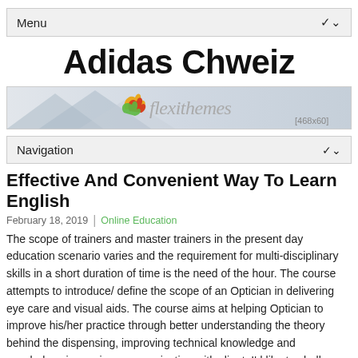Menu
Adidas Chweiz
[Figure (illustration): FlexiThemes banner advertisement showing mountain silhouette background with colorful leaf logo and 'flexithemes' text in grey italic, labeled [468x60]]
Navigation
Effective And Convenient Way To Learn English
February 18, 2019  |  Online Education
The scope of trainers and master trainers in the present day education scenario varies and the requirement for multi-disciplinary skills in a short duration of time is the need of the hour. The course attempts to introduce/define the scope of an Optician in delivering eye care and visual aids. The course aims at helping Optician to improve his/her practice through better understanding the theory behind the dispensing, improving technical knowledge and vocabulary, improving communication with client. I'd like to challenge that view: not only will online education eventually be as good